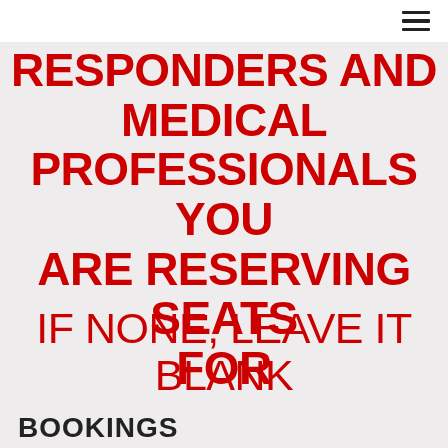RESPONDERS AND MEDICAL PROFESSIONALS YOU ARE RESERVING SEATS FOR
IF NONE, LEAVE IT BLANK
BOOKINGS